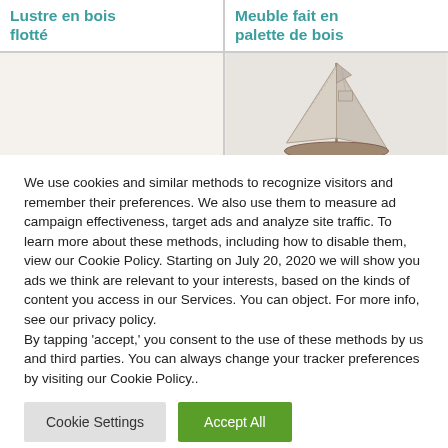Lustre en bois flotté
Meuble fait en palette de bois
[Figure (photo): Empty left cell placeholder]
[Figure (photo): Photo of a decorative sailboat or tent-like craft object made of fabric and sticks]
We use cookies and similar methods to recognize visitors and remember their preferences. We also use them to measure ad campaign effectiveness, target ads and analyze site traffic. To learn more about these methods, including how to disable them, view our Cookie Policy. Starting on July 20, 2020 we will show you ads we think are relevant to your interests, based on the kinds of content you access in our Services. You can object. For more info, see our privacy policy.
By tapping 'accept,' you consent to the use of these methods by us and third parties. You can always change your tracker preferences by visiting our Cookie Policy..
Cookie Settings
Accept All